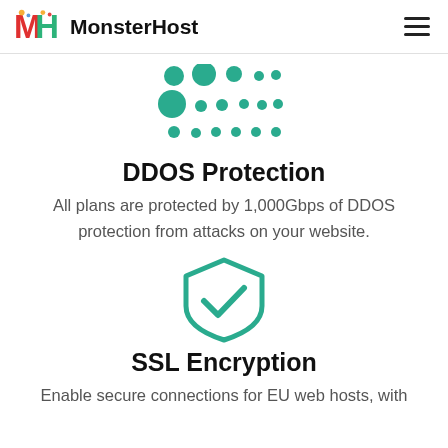MonsterHost
[Figure (illustration): Teal dot grid illustration representing DDOS protection, arranged in a 4x3 grid of circles with varying sizes]
DDOS Protection
All plans are protected by 1,000Gbps of DDOS protection from attacks on your website.
[Figure (illustration): Teal shield icon with a checkmark inside, representing SSL encryption]
SSL Encryption
Enable secure connections for EU web hosts, with